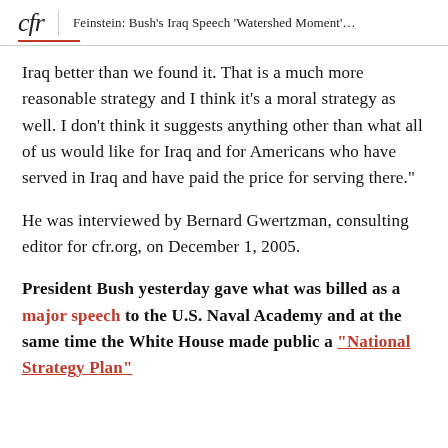cfr  |  Feinstein: Bush's Iraq Speech 'Watershed Moment'…
Iraq better than we found it. That is a much more reasonable strategy and I think it's a moral strategy as well. I don't think it suggests anything other than what all of us would like for Iraq and for Americans who have served in Iraq and have paid the price for serving there."
He was interviewed by Bernard Gwertzman, consulting editor for cfr.org, on December 1, 2005.
President Bush yesterday gave what was billed as a major speech to the U.S. Naval Academy and at the same time the White House made public a "National Strategy Plan" for victory in Iraq that…